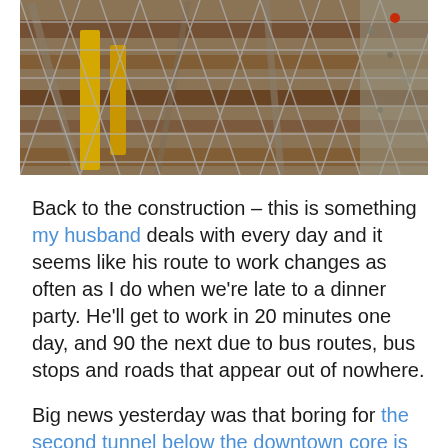[Figure (photo): Close-up photograph of construction materials — metal rebar and debris visible through wire mesh fencing]
Back to the construction – this is something my husband deals with every day and it seems like his route to work changes as often as I do when we're late to a dinner party. He'll get to work in 20 minutes one day, and 90 the next due to bus routes, bus stops and roads that appear out of nowhere.
Big news yesterday was that boring for the second tunnel below the downtown core is now complete. I honestly don't think that the line will assist me in everyday life, except perhaps with the flow of traffic downtown… and yeah, it will be nice once it's all complete when we can ride the train out to the airport to meet my in-laws when the visit